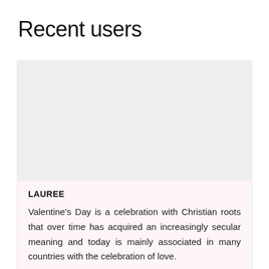Recent users
[Figure (photo): A rectangular light gray placeholder image area inside a light pink card.]
LAUREE
Valentine's Day is a celebration with Christian roots that over time has acquired an increasingly secular meaning and today is mainly associated in many countries with the celebration of love.